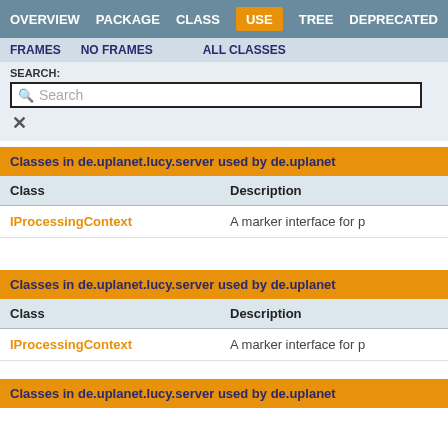OVERVIEW  PACKAGE  CLASS  USE  TREE  DEPRECATED
FRAMES  NO FRAMES  ALL CLASSES
SEARCH:
Classes in de.uplanet.lucy.server used by de.uplanet...
| Class | Description |
| --- | --- |
| IProcessingContext | A marker interface for p... |
Classes in de.uplanet.lucy.server used by de.uplanet...
| Class | Description |
| --- | --- |
| IProcessingContext | A marker interface for p... |
Classes in de.uplanet.lucy.server used by de.uplanet...